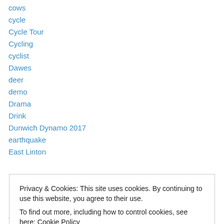cows
cycle
Cycle Tour
Cycling
cyclist
Dawes
deer
demo
Drama
Drink
Dunwich Dynamo 2017
earthquake
East Linton
Privacy & Cookies: This site uses cookies. By continuing to use this website, you agree to their use. To find out more, including how to control cookies, see here: Cookie Policy
fashion